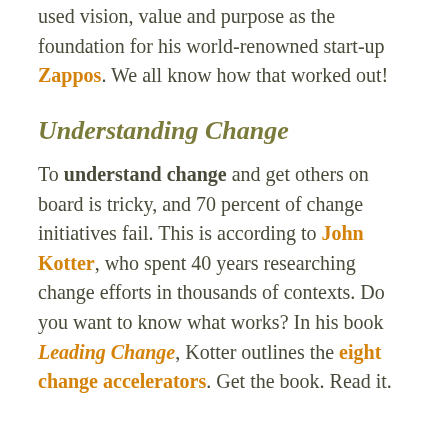used vision, value and purpose as the foundation for his world-renowned start-up Zappos. We all know how that worked out!
Understanding Change
To understand change and get others on board is tricky, and 70 percent of change initiatives fail. This is according to John Kotter, who spent 40 years researching change efforts in thousands of contexts. Do you want to know what works? In his book Leading Change, Kotter outlines the eight change accelerators. Get the book. Read it.